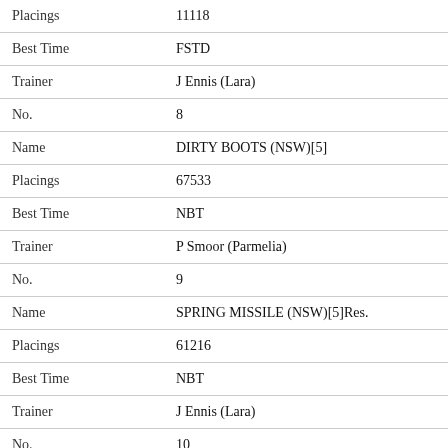| Field | Value |
| --- | --- |
| Placings | 11118 |
| Best Time | FSTD |
| Trainer | J Ennis (Lara) |
| No. | 8 |
| Name | DIRTY BOOTS (NSW)[5] |
| Placings | 67533 |
| Best Time | NBT |
| Trainer | P Smoor (Parmelia) |
| No. | 9 |
| Name | SPRING MISSILE (NSW)[5]Res. |
| Placings | 61216 |
| Best Time | NBT |
| Trainer | J Ennis (Lara) |
| No. | 10 |
| Name | MECHATRONIC [5]Res. |
| Placings | 35675 |
| Best Time | 23.45(5) |